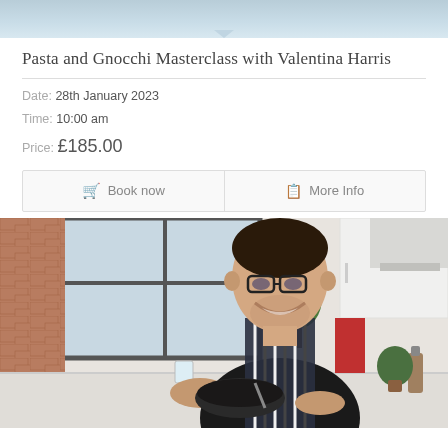[Figure (photo): Top partial image with light blue/grey gradient background, appears to be a cropped portion of a kitchen or event photo]
Pasta and Gnocchi Masterclass with Valentina Harris
Date: 28th January 2023
Time: 10:00 am
Price: £185.00
Book now | More Info
[Figure (photo): Man wearing glasses and a striped apron, smiling while cooking in a kitchen, holding a dark bowl. Brick wall and window visible in background with plants.]